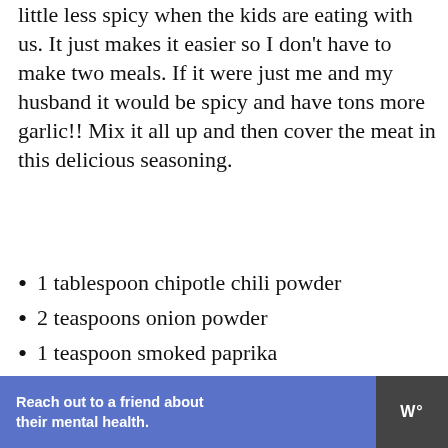little less spicy when the kids are eating with us. It just makes it easier so I don't have to make two meals. If it were just me and my husband it would be spicy and have tons more garlic!! Mix it all up and then cover the meat in this delicious seasoning.
1 tablespoon chipotle chili powder
2 teaspoons onion powder
1 teaspoon smoked paprika
2 teaspoons salt kosher salt
How to Make Crockpot Carne
Reach out to a friend about their mental health.